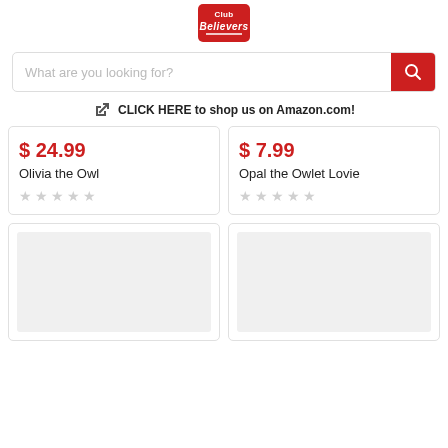[Figure (logo): Believers brand logo - red badge with white text]
What are you looking for?
CLICK HERE to shop us on Amazon.com!
$ 24.99
Olivia the Owl
$ 7.99
Opal the Owlet Lovie
[Figure (photo): Product image placeholder (empty gray box)]
[Figure (photo): Product image placeholder (empty gray box)]